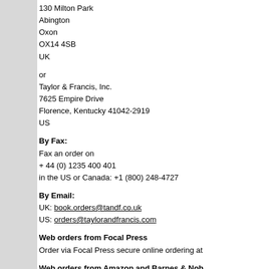130 Milton Park
Abington
Oxon
OX14 4SB
UK
or
Taylor & Francis, Inc.
7625 Empire Drive
Florence, Kentucky 41042-2919
US
By Fax:
Fax an order on
+ 44 (0) 1235 400 401
in the US or Canada: +1 (800) 248-4727
By Email:
UK: book.orders@tandf.co.uk
US: orders@taylorandfrancis.com
Web orders from Focal Press
Order via Focal Press secure online ordering at
Web orders from Amazon and Barnes & Nob...
you can order this book on-line from Barnes an...
Amazon.co.uk in the UK,and is also stocked in
the UK and US.
Adobe Photoshop for Photographers
Amazon.com
Amazon.co.uk